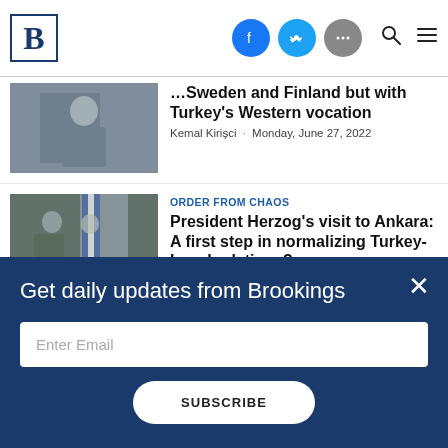Brookings Institution website header with logo, social icons (Facebook, Twitter, more), search and menu icons
[Figure (photo): Photo of a person at a podium, partially visible, outdoor setting]
Sweden and Finland but with Turkey's Western vocation
Kemal Kirişci · Monday, June 27, 2022
[Figure (photo): Photo of officials in military/formal attire with an Israeli flag, outdoor setting]
ORDER FROM CHAOS
President Herzog's visit to Ankara: A first step in normalizing Turkey-Israel relations?
Get daily updates from Brookings
Enter Email
SUBSCRIBE